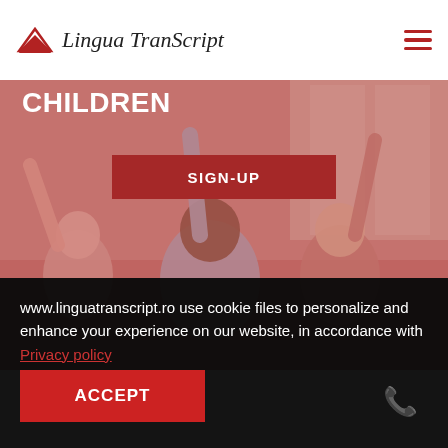Lingua TranScript
[Figure (photo): Children in a classroom raising their hands, with a reddish overlay. Hero banner image for Lingua TranScript language school website.]
COURSES AND CAMPS FOR CHILDREN
SIGN-UP
www.linguatranscript.ro use cookie files to personalize and enhance your experience on our website, in accordance with Privacy policy
ACCEPT